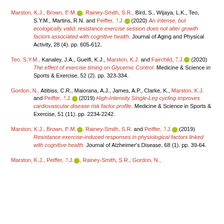Marston, K.J., Brown, B.M. [orcid], Rainey-Smith, S.R., Bird, S., Wijaya, L.K., Teo, S.Y.M., Martins, R.N. and Peiffer, J.J. [orcid] (2020) An Intense, but ecologically valid, resistance exercise session does not alter growth factors associated with cognitive health. Journal of Aging and Physical Activity, 28 (4). pp. 605-612.
Teo, S.Y.M., Kanaley, J.A., Guelfi, K.J., Marston, K.J. and Fairchild, T.J. [orcid] (2020) The effect of exercise timing on Glycemic Control. Medicine & Science in Sports & Exercise, 52 (2). pp. 323-334.
Gordon, N., Abbiss, C.R., Maiorana, A.J., James, A.P., Clarke, K., Marston, K.J. and Peiffer, J.J. [orcid] (2019) High-Intensity Single-Leg cycling improves cardiovascular disease risk factor profile. Medicine & Science in Sports & Exercise, 51 (11). pp. 2234-2242.
Marston, K.J., Brown, B.M. [orcid], Rainey-Smith, S.R. and Peiffer, J.J. [orcid] (2019) Resistance exercise-induced responses in physiological factors linked with cognitive health. Journal of Alzheimer's Disease, 68 (1). pp. 39-64.
Marston, K.J., Peiffer, J.J. [orcid], Rainey-Smith, S.R., Gordon, N.,